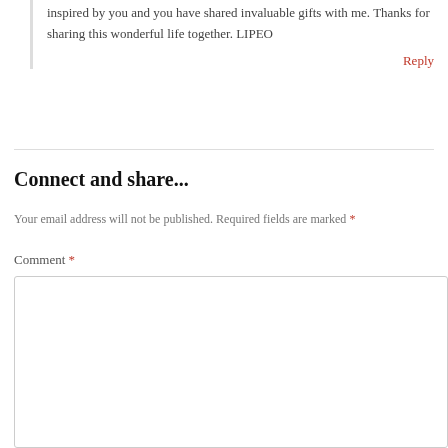inspired by you and you have shared invaluable gifts with me. Thanks for sharing this wonderful life together. LIPEO
Reply
Connect and share...
Your email address will not be published. Required fields are marked *
Comment *